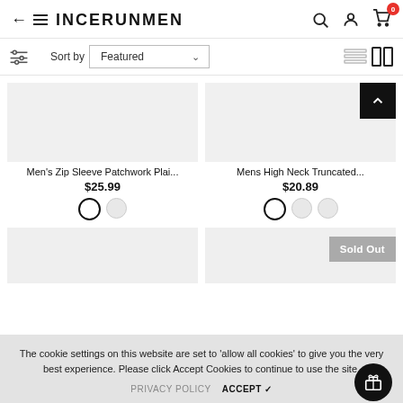INCERUNMEN
Sort by Featured
Men's Zip Sleeve Patchwork Plai... $25.99
Mens High Neck Truncated... $20.89
Sold Out
The cookie settings on this website are set to 'allow all cookies' to give you the very best experience. Please click Accept Cookies to continue to use the site.
PRIVACY POLICY   ACCEPT ✔